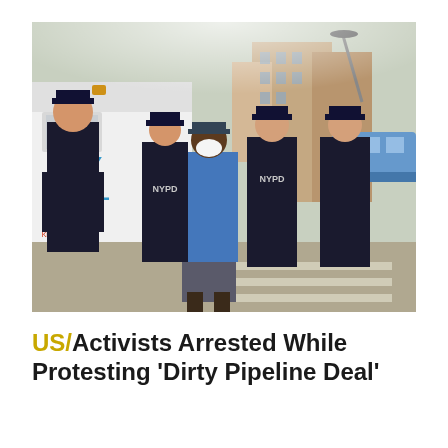[Figure (photo): NYPD officers arresting a person wearing a blue t-shirt and white face mask on a city street. An NYPD police van is visible in the background along with city buildings and a bus.]
US/Activists Arrested While Protesting 'Dirty Pipeline Deal'